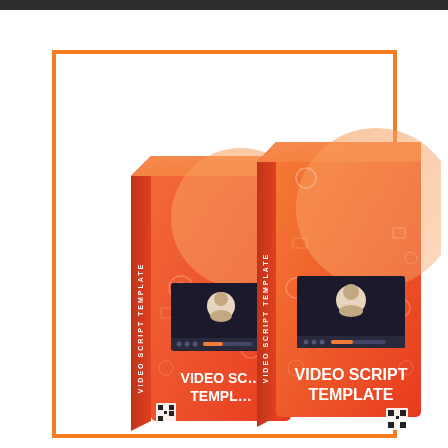[Figure (illustration): Two red/orange product boxes labeled 'VIDEO SCRIPT TEMPLATE' with a video player graphic showing a presenter avatar on the front face, displayed side by side. The boxes have a gradient from red to orange, with technology/media icons in the background. The front face of each box shows bold white text reading 'VIDEO SCRIPT TEMPLATE'.]